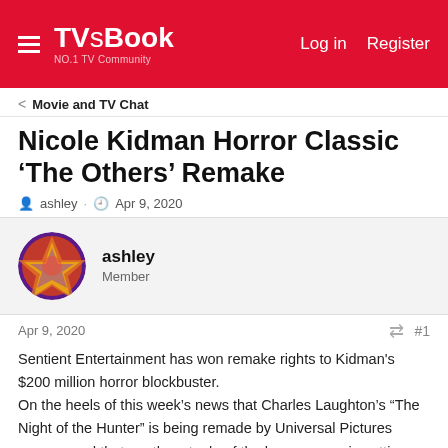TVsBook NO.1 TV Community  Log in  Register
Movie and TV Chat
Nicole Kidman Horror Classic ‘The Others’ Remake
ashley · Apr 9, 2020
ashley
Member
Apr 9, 2020   #1
Sentient Entertainment has won remake rights to Kidman's $200 million horror blockbuster.
On the heels of this week’s news that Charles Laughton’s “The Night of the Hunter” is being remade by Universal Pictures comes word that another staple of the horror genre is getting a modern reimagining: Alejandro Amenabar’s 2001 chiller “The